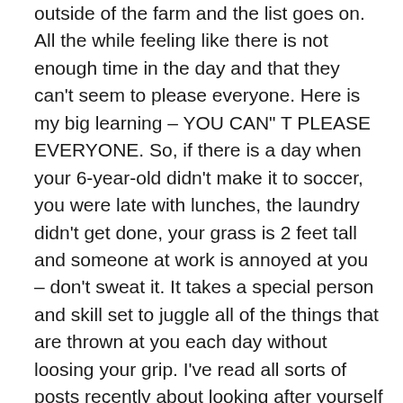outside of the farm and the list goes on. All the while feeling like there is not enough time in the day and that they can't seem to please everyone. Here is my big learning – YOU CAN" T PLEASE EVERYONE. So, if there is a day when your 6-year-old didn't make it to soccer, you were late with lunches, the laundry didn't get done, your grass is 2 feet tall and someone at work is annoyed at you – don't sweat it. It takes a special person and skill set to juggle all of the things that are thrown at you each day without loosing your grip. I've read all sorts of posts recently about looking after yourself so that you can look after everyone else. And it's totally true. Take a breath and find your happiness – even if only for 10 minutes.
So what do I do? Well friends – I'm sitting on my deck, after dark, listening to the quiet chirp of my yard and enjoying a very Canadian Caesar. As I'm writing this post,